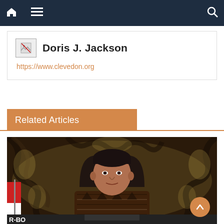Navigation bar with home, menu, and search icons
Doris J. Jackson
https://www.clevedon.org
Related Articles
[Figure (photo): A man in a batik shirt seated at a desk in front of an ornate dark carved wooden backdrop with golden floral patterns. A red and white flag is visible on the left, and a nameplate is on the desk. Text 'R-BO' visible in bottom left corner.]